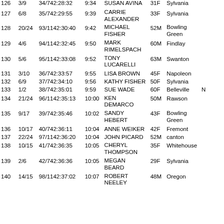| Place | Div | Overall Time | Pace | Name | Age/Sex | City | State |
| --- | --- | --- | --- | --- | --- | --- | --- |
| 126 | 3/9 | 34/742:28:32 | 9:34 | SUSAN AVINA | 31F | Sylvania |  |
| 127 | 6/8 | 35/742:29:55 | 9:39 | CARRIE ALEXANDER | 33F | Sylvania |  |
| 128 | 20/24 | 93/1142:30:40 | 9:42 | MICHAEL FISHER | 52M | Bowling Green |  |
| 129 | 4/6 | 94/1142:32:45 | 9:50 | MARK RIMELSPACH | 60M | Findlay |  |
| 130 | 5/6 | 95/1142:33:08 | 9:52 | TONY LUCARELLI | 63M | Swanton |  |
| 131 | 3/10 | 36/742:33:57 | 9:55 | LISA BROWN | 45F | Napoleon |  |
| 132 | 6/9 | 37/742:34:10 | 9:56 | KATHY FISHER | 50F | Sylvania |  |
| 133 | 1/2 | 38/742:35:01 | 9:59 | SUE WADE | 60F | Belleville | N |
| 134 | 21/24 | 96/1142:35:13 | 10:00 | KEN DEMARCO | 50M | Rawson |  |
| 135 | 9/17 | 39/742:35:46 | 10:02 | SANDY HEBERT | 43F | Bowling Green |  |
| 136 | 10/17 | 40/742:36:11 | 10:04 | ANNE WEIKER | 42F | Fremont |  |
| 137 | 22/24 | 97/1142:36:20 | 10:04 | JOHN PICARD | 52M | canton |  |
| 138 | 10/15 | 41/742:36:35 | 10:05 | CHERYL THOMPSON | 35F | Whitehouse |  |
| 139 | 2/6 | 42/742:36:36 | 10:05 | MEGAN BEARD | 29F | Sylvania |  |
| 140 | 14/15 | 98/1142:37:02 | 10:07 | ROBERT NEELEY | 48M | Oregon |  |